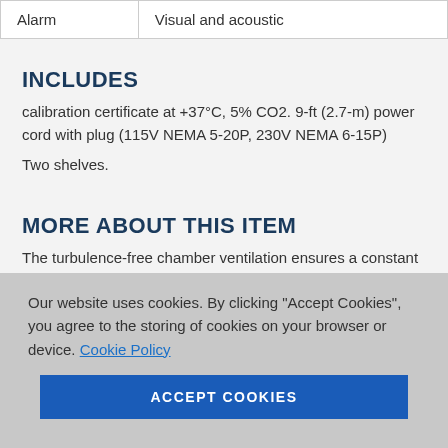| Alarm | Visual and acoustic |
INCLUDES
calibration certificate at +37°C, 5% CO2. 9-ft (2.7-m) power cord with plug (115V NEMA 5-20P, 230V NEMA 6-15P)
Two shelves.
MORE ABOUT THIS ITEM
The turbulence-free chamber ventilation ensures a constant and uniform atmosphere. The user friendly ControlCOCKPIT and the
Our website uses cookies. By clicking “Accept Cookies”, you agree to the storing of cookies on your browser or device. Cookie Policy
ACCEPT COOKIES